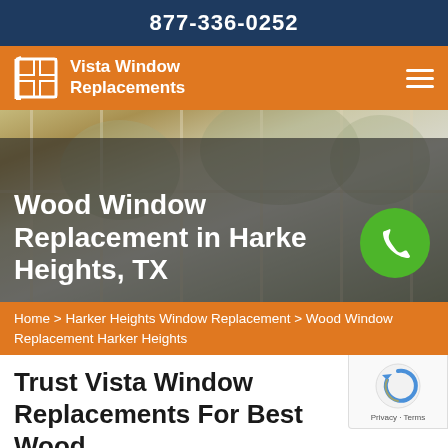877-336-0252
Vista Window Replacements
[Figure (photo): Interior room photo showing large multi-pane wood windows with trees visible outside, with dark overlay and large white text overlay reading 'Wood Window Replacement in Harker Heights, TX' and a green phone button circle]
Home > Harker Heights Window Replacement > Wood Window Replacement Harker Heights
Trust Vista Window Replacements For Best Wood